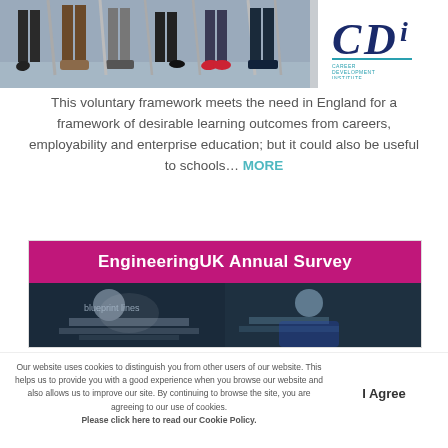[Figure (photo): Photo of people's legs and feet in professional attire, seated, with CDI Career Development Institute logo overlay]
This voluntary framework meets the need in England for a framework of desirable learning outcomes from careers, employability and enterprise education; but it could also be useful to schools… MORE
[Figure (photo): EngineeringUK Annual Survey banner with magenta/pink header and two photos of engineers working]
Our website uses cookies to distinguish you from other users of our website. This helps us to provide you with a good experience when you browse our website and also allows us to improve our site. By continuing to browse the site, you are agreeing to our use of cookies. Please click here to read our Cookie Policy.
I Agree